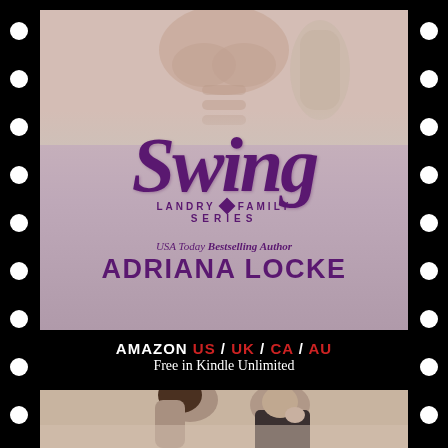[Figure (illustration): Book cover for 'Swing' by Adriana Locke, part of the Landry Family Series. Shows shirtless male torso at top, large cursive purple 'Swing' title, series diamond logo, 'USA Today Bestselling Author' text, and author name 'ADRIANA LOCKE' in large bold letters. Set against a mauve/purple gradient background. Displayed in a film strip style border with white circles on black sides.]
AMAZON US / UK / CA / AU
Free in Kindle Unlimited
[Figure (photo): Partial bottom view of another book cover showing a man and woman in close proximity, formal attire, black and white/sepia toned.]